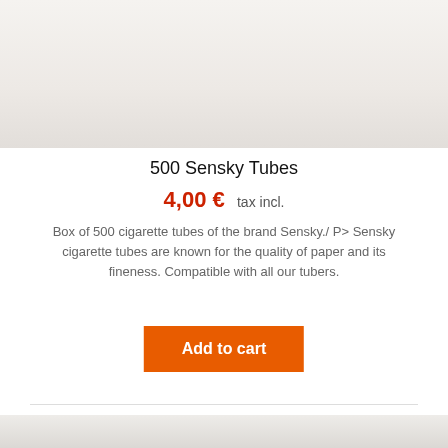[Figure (photo): Product image of 500 Sensky Tubes box on light gray/white background]
500 Sensky Tubes
4,00 €  tax incl.
Box of 500 cigarette tubes of the brand Sensky./ P> Sensky cigarette tubes are known for the quality of paper and its fineness. Compatible with all our tubers.
Add to cart
[Figure (photo): Second product image partially visible at the bottom of the page]